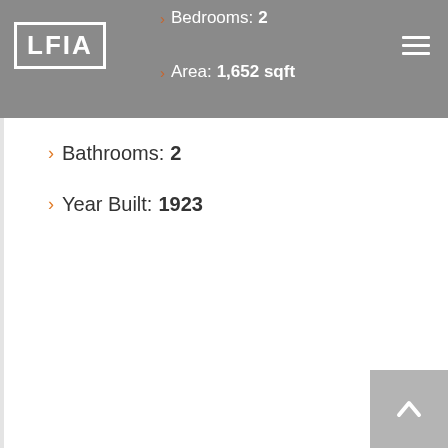LFIA
Bedrooms: 2
Area: 1,652 sqft
Bathrooms: 2
Year Built: 1923